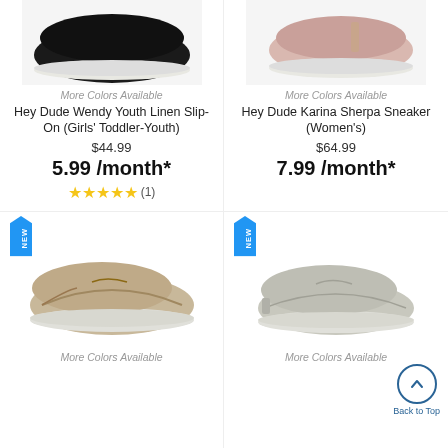[Figure (photo): Black slip-on shoe (Hey Dude Wendy Youth Linen) - top cropped view]
[Figure (photo): Pink sherpa sneaker (Hey Dude Karina Sherpa) - top cropped view]
More Colors Available
Hey Dude Wendy Youth Linen Slip-On (Girls' Toddler-Youth)
$44.99
5.99 /month*
★★★★★ (1)
More Colors Available
Hey Dude Karina Sherpa Sneaker (Women's)
$64.99
7.99 /month*
[Figure (photo): Tan/beige moccasin-style shoe (Hey Dude) - lower product section with NEW badge]
[Figure (photo): Light gray slip-on shoe (Hey Dude) - lower product section with NEW badge and Back to Top button]
More Colors Available
More Colors Available